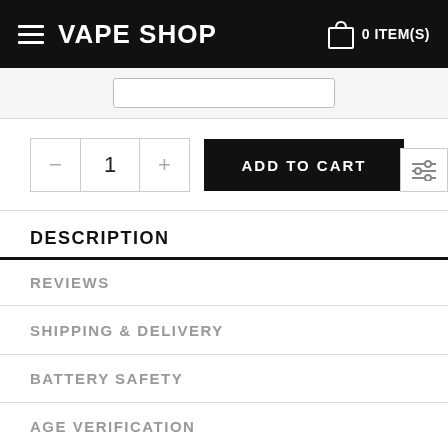VAPE SHOP  0 ITEM(S)
DESCRIPTION
REVIEWS
SHIPPING & DELIVERY
BATTERY SAFETY
AGE VERIFICATION